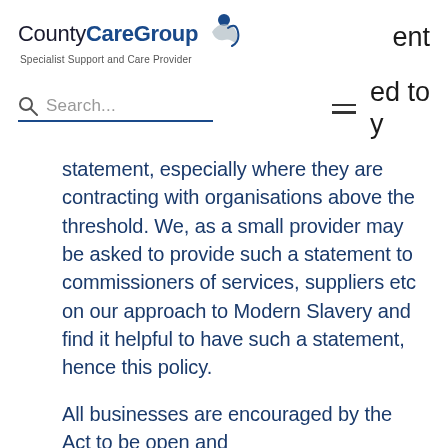County CareGroup — Specialist Support and Care Provider
statement, especially where they are contracting with organisations above the threshold. We, as a small provider may be asked to provide such a statement to commissioners of services, suppliers etc on our approach to Modern Slavery and find it helpful to have such a statement, hence this policy.
All businesses are encouraged by the Act to be open and